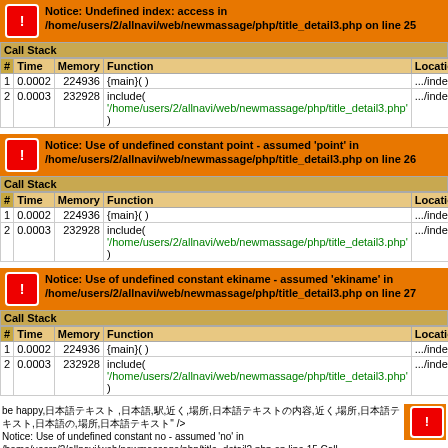[Figure (screenshot): PHP error notice: Undefined index: access with call stack table showing two calls]
[Figure (screenshot): PHP error notice: Use of undefined constant point - assumed 'point' with call stack table]
[Figure (screenshot): PHP error notice: Use of undefined constant ekiname - assumed 'ekiname' with call stack table]
be happy,... Notice: Use of undefined constant no - assumed 'no' in /home/users/2/allnavi/web/newmassage/php/title_detail2.php on line 15 Call Stack #TimeMemoryFunctionLocation 10.0002224936{main}( ).../index.html:0